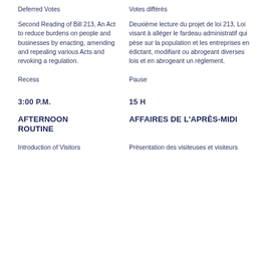Deferred Votes	Votes différés
Second Reading of Bill 213, An Act to reduce burdens on people and businesses by enacting, amending and repealing various Acts and revoking a regulation.
Deuxième lecture du projet de loi 213, Loi visant à alléger le fardeau administratif qui pèse sur la population et les entreprises en édictant, modifiant ou abrogeant diverses lois et en abrogeant un règlement.
Recess
Pause
3:00 P.M.
15 H
AFTERNOON ROUTINE
AFFAIRES DE L'APRÈS-MIDI
Introduction of Visitors
Présentation des visiteuses et visiteurs